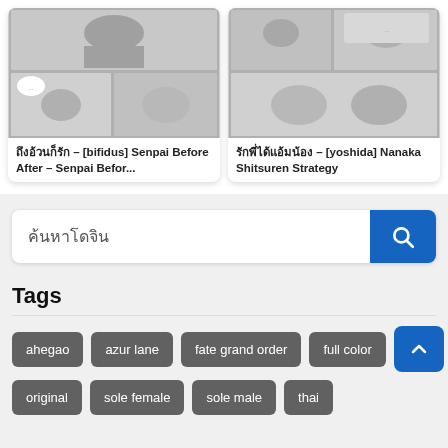[Figure (illustration): Manga/anime style grayscale illustration card for 'ถึงอ้วนก็รัก – [bifidus] Senpai Before After – Senpai Befor...']
ถึงอ้วนก็รัก – [bifidus] Senpai Before After – Senpai Befor...
[Figure (illustration): Manga/anime style grayscale illustration card for 'รักพี่ได้แอ้มน้อง – [yoshida] Nanaka Shitsuren Strategy']
รักพี่ได้แอ้มน้อง – [yoshida] Nanaka Shitsuren Strategy
ค้นหาโดจิน
Tags
ahegao
azur lane
fate grand order
full color
original
sole female
sole male
thai